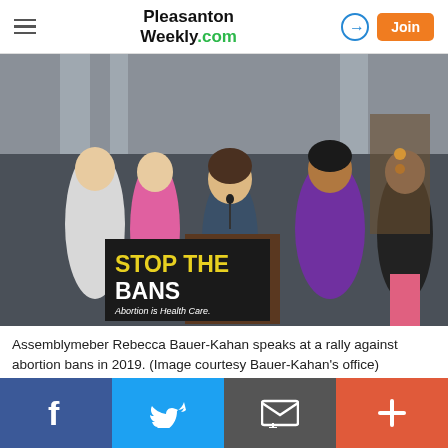Pleasanton Weekly.com
[Figure (photo): Assemblymember Rebecca Bauer-Kahan speaks at a podium with a sign reading 'STOP THE BANS – Abortion is Health Care.' at a rally, surrounded by other women.]
Assemblymeber Rebecca Bauer-Kahan speaks at a rally against abortion bans in 2019. (Image courtesy Bauer-Kahan's office)